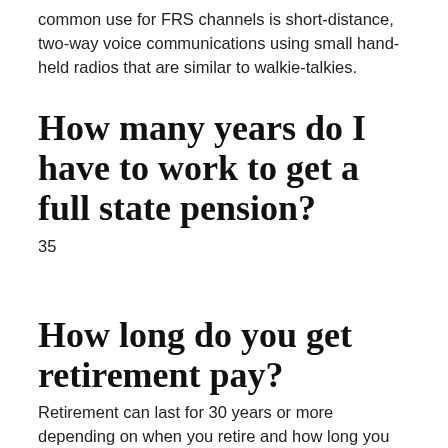common use for FRS channels is short-distance, two-way voice communications using small hand-held radios that are similar to walkie-talkies.
How many years do I have to work to get a full state pension?
35
How long do you get retirement pay?
Retirement can last for 30 years or more depending on when you retire and how long you live. Your income in retirement is likely to come from several sources including your State Pension, any other